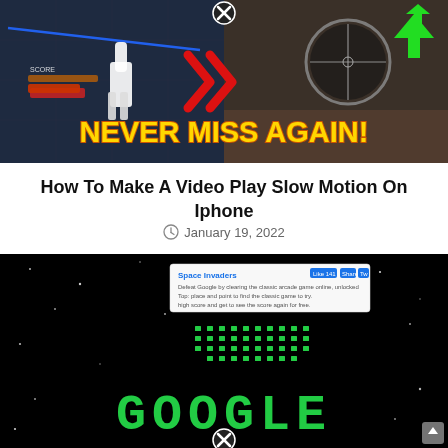[Figure (screenshot): Gaming video thumbnail showing sniper scope and character with 'NEVER MISS AGAIN!' text in yellow letters on dark background, red double chevron arrows in center, green up arrow top right, close button top]
How To Make A Video Play Slow Motion On Iphone
January 19, 2022
[Figure (screenshot): Black space background with Space Invaders Google Doodle screenshot showing green pixel alien formations spelling GOOGLE at bottom, with a browser overlay showing 'Space Invaders' game info at top, close button at bottom]